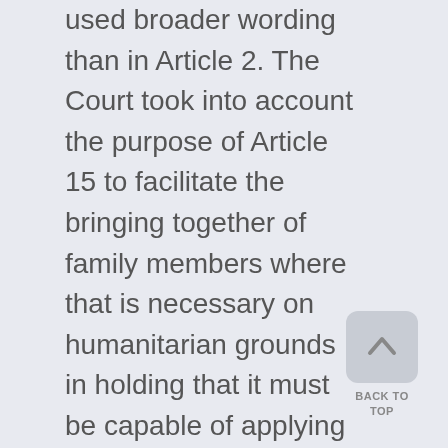used broader wording than in Article 2. The Court took into account the purpose of Article 15 to facilitate the bringing together of family members where that is necessary on humanitarian grounds in holding that it must be capable of applying to situations which go beyond those under the listed criteria (Para 40). It is necessary to establish if the